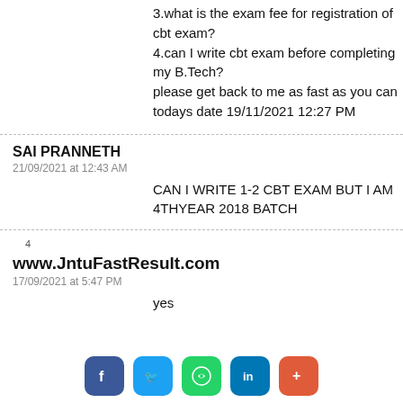3.what is the exam fee for registration of cbt exam?
4.can I write cbt exam before completing my B.Tech?
please get back to me as fast as you can todays date 19/11/2021 12:27 PM
SAI PRANNETH
21/09/2021 at 12:43 AM
CAN I WRITE 1-2 CBT EXAM BUT I AM 4THYEAR 2018 BATCH
4
www.JntuFastResult.com
17/09/2021 at 5:47 PM
yes